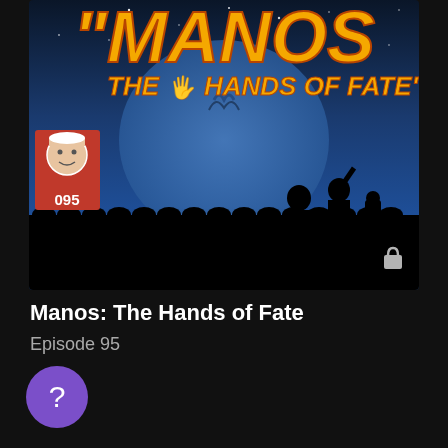[Figure (screenshot): Thumbnail image for 'Manos: The Hands of Fate' MST3K episode 095. Shows movie title in yellow stylized text over a blue night sky with moon, silhouetted theater audience, a red badge with episode number 095, and a lock icon.]
Manos: The Hands of Fate
Episode 95
Visit the Virtual Theater   Help   Terms   Privacy   Cookies   Sign in